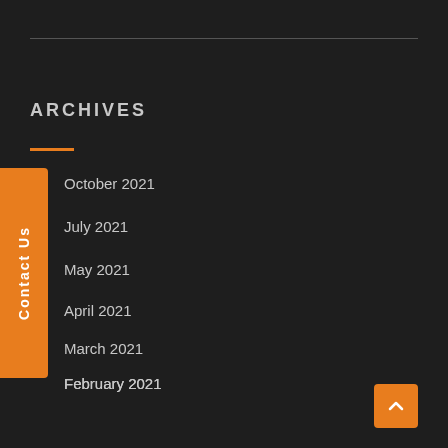ARCHIVES
October 2021
July 2021
May 2021
April 2021
March 2021
February 2021
January 2021
December 2020
November 2020